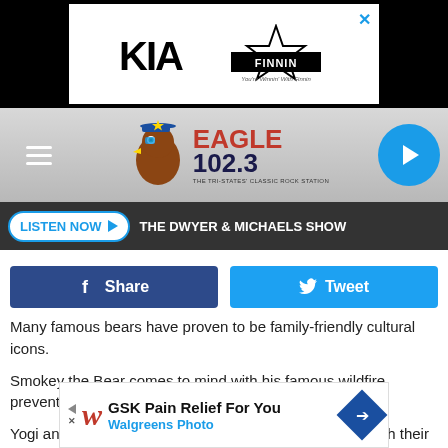[Figure (other): KIA and Finnin automotive advertisement banner at top of page]
[Figure (logo): Eagle 102.3 The Tri-States' Classic Rock Station logo with mascot eagle]
LISTEN NOW ▶   THE DWYER & MICHAELS SHOW
[Figure (other): Facebook Share and Twitter Tweet social sharing buttons]
Many famous bears have proven to be family-friendly cultural icons.
Smokey the Bear comes to mind with his famous wildfire prevention campaigns.
Yogi and Boo-Boo Bear have entertained generations with their racket of stealing picnic baskets in Jellystone Park.
[Figure (other): Walgreens Photo / GSK Pain Relief For You advertisement banner at bottom]